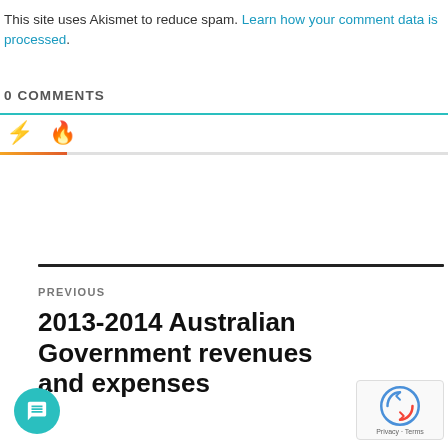This site uses Akismet to reduce spam. Learn how your comment data is processed.
0 COMMENTS
PREVIOUS
2013-2014 Australian Government revenues and expenses